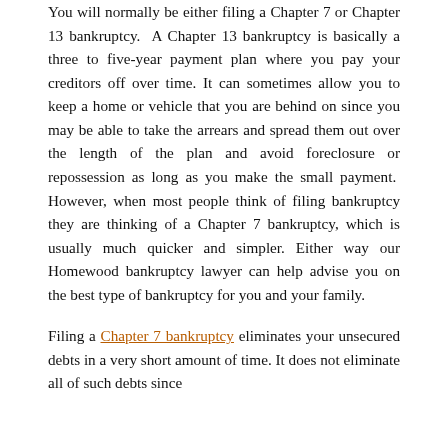You will normally be either filing a Chapter 7 or Chapter 13 bankruptcy. A Chapter 13 bankruptcy is basically a three to five-year payment plan where you pay your creditors off over time. It can sometimes allow you to keep a home or vehicle that you are behind on since you may be able to take the arrears and spread them out over the length of the plan and avoid foreclosure or repossession as long as you make the small payment. However, when most people think of filing bankruptcy they are thinking of a Chapter 7 bankruptcy, which is usually much quicker and simpler. Either way our Homewood bankruptcy lawyer can help advise you on the best type of bankruptcy for you and your family.
Filing a Chapter 7 bankruptcy eliminates your unsecured debts in a very short amount of time. It does not eliminate all of such debts since